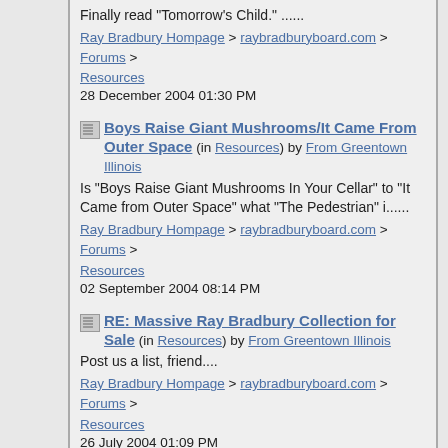Finally read "Tomorrow's Child." ......
Ray Bradbury Hompage > raybradburyboard.com > Forums > Resources
28 December 2004 01:30 PM
Boys Raise Giant Mushrooms/It Came From Outer Space (in Resources) by From Greentown Illinois
Is "Boys Raise Giant Mushrooms In Your Cellar" to "It Came from Outer Space" what "The Pedestrian" i......
Ray Bradbury Hompage > raybradburyboard.com > Forums > Resources
02 September 2004 08:14 PM
RE: Massive Ray Bradbury Collection for Sale (in Resources) by From Greentown Illinois
Post us a list, friend....
Ray Bradbury Hompage > raybradburyboard.com > Forums > Resources
26 July 2004 01:09 PM
I need to get back to talking about Mr. Bradbury. Try this for fun. (in Resources) by From Greentown Illinois
Trying a new Ray Bradbury game...